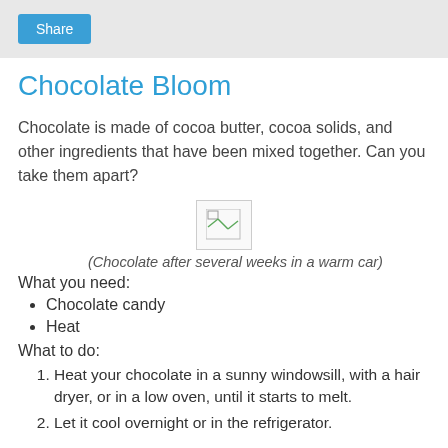Share
Chocolate Bloom
Chocolate is made of cocoa butter, cocoa solids, and other ingredients that have been mixed together. Can you take them apart?
[Figure (photo): Broken/missing image placeholder showing a broken image icon]
(Chocolate after several weeks in a warm car)
What you need:
Chocolate candy
Heat
What to do:
Heat your chocolate in a sunny windowsill, with a hair dryer, or in a low oven, until it starts to melt.
Let it cool overnight or in the refrigerator.